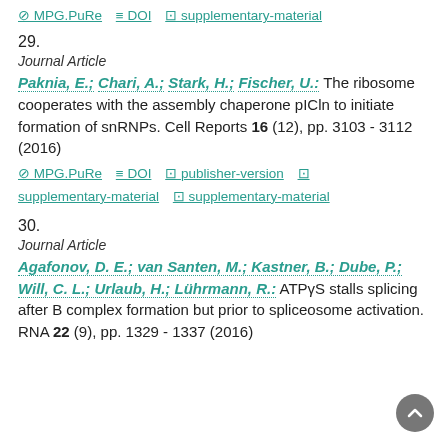MPG.PuRe  DOI  supplementary-material
29.
Journal Article
Paknia, E.; Chari, A.; Stark, H.; Fischer, U.: The ribosome cooperates with the assembly chaperone pICln to initiate formation of snRNPs. Cell Reports 16 (12), pp. 3103 - 3112 (2016)
MPG.PuRe  DOI  publisher-version  supplementary-material  supplementary-material
30.
Journal Article
Agafonov, D. E.; van Santen, M.; Kastner, B.; Dube, P.; Will, C. L.; Urlaub, H.; Lührmann, R.: ATPγS stalls splicing after B complex formation but prior to spliceosome activation. RNA 22 (9), pp. 1329 - 1337 (2016)